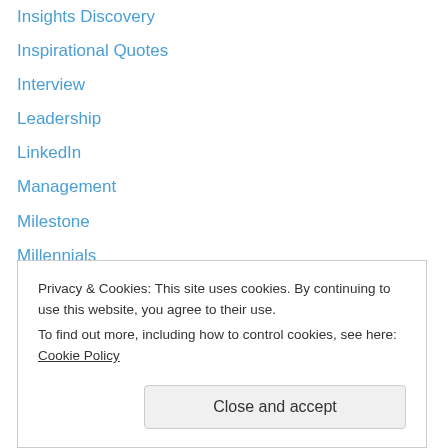Insights Discovery
Inspirational Quotes
Interview
Leadership
LinkedIn
Management
Milestone
Millennials
Organizational Culture
Organizational Development
Outreach
Ownership
Parenting
Rock and Roll
Privacy & Cookies: This site uses cookies. By continuing to use this website, you agree to their use. To find out more, including how to control cookies, see here: Cookie Policy
Close and accept